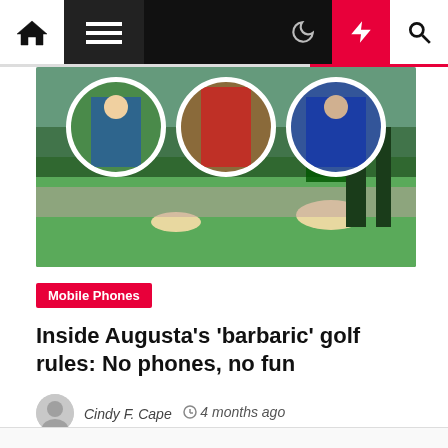Navigation bar with home, menu, moon, flash, search icons
[Figure (photo): Hero image showing Augusta golf course with three circular inset photos of golfers above a wide-angle view of the golf course filled with spectators]
Mobile Phones
Inside Augusta's 'barbaric' golf rules: No phones, no fun
Cindy F. Cape  4 months ago